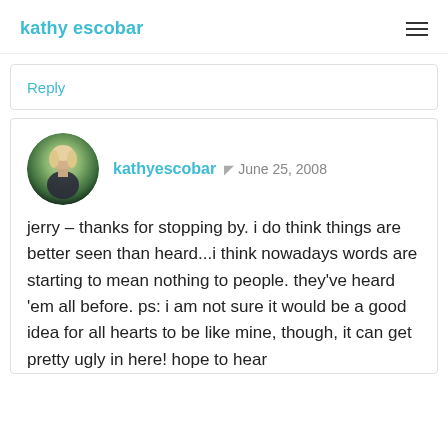kathy escobar
Reply
kathyescobar  June 25, 2008
jerry – thanks for stopping by. i do think things are better seen than heard...i think nowadays words are starting to mean nothing to people. they've heard 'em all before. ps: i am not sure it would be a good idea for all hearts to be like mine, though, it can get pretty ugly in here! hope to hear